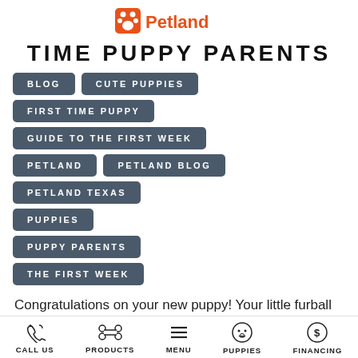[Figure (logo): Petland logo with orange paw print icon and orange 'Petland' text]
TIME PUPPY PARENTS
BLOG
CUTE PUPPIES
FIRST TIME PUPPY
GUIDE TO THE FIRST WEEK
PETLAND
PETLAND BLOG
PETLAND TEXAS
PUPPIES
PUPPY PARENTS
THE FIRST WEEK
Congratulations on your new puppy! Your little furball is going to be your new four
CALL US   PRODUCTS   MENU   PUPPIES   FINANCING